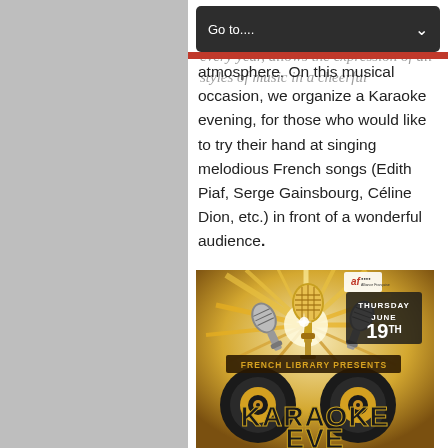Go to....
The Music Day celebrated on 21st June every year, allows the expression of all styles of music in a cheerful atmosphere. On this musical occasion, we organize a Karaoke evening, for those who would like to try their hand at singing melodious French songs (Edith Piaf, Serge Gainsbourg, Céline Dion, etc.) in front of a wonderful audience.
[Figure (illustration): Karaoke Eve event poster for French Library on Thursday June 19th, featuring gold microphones and speakers on a dramatic burst background with 'KARAOKE EVE' text and Alliance Française logo.]